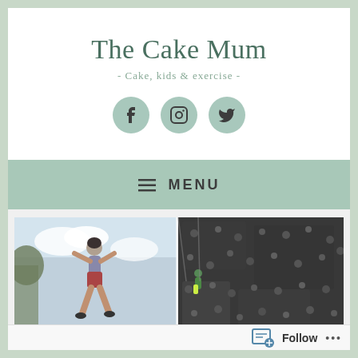The Cake Mum
- Cake, kids & exercise -
[Figure (illustration): Three social media icons (Facebook, Instagram, Twitter) displayed as teal/sage green circles]
≡ MENU
[Figure (photo): Photo collage: left side shows a person jumping or zip-lining against a cloudy sky, right side shows a climbing wall with holds]
Follow ...